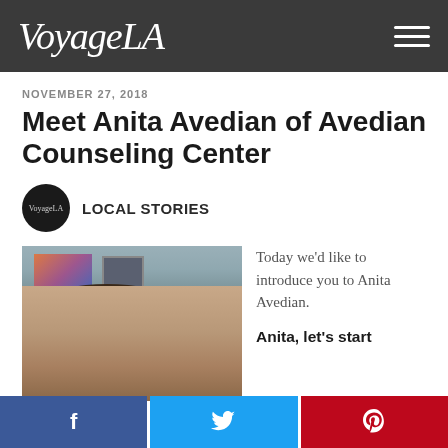VoyageLA
NOVEMBER 27, 2018
Meet Anita Avedian of Avedian Counseling Center
LOCAL STORIES
[Figure (photo): Portrait photo of Anita Avedian in an office setting with artwork on the wall behind her]
Today we'd like to introduce you to Anita Avedian.
Anita, let's start